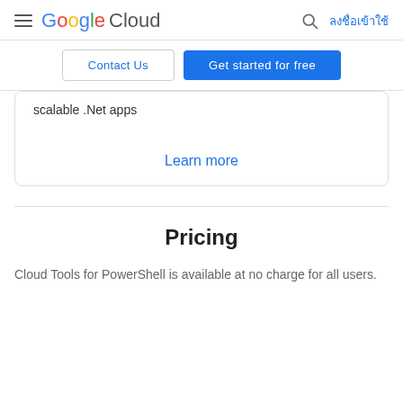Google Cloud — ลงชื่อเข้าใช้
Contact Us | Get started for free
scalable .Net apps
Learn more
Pricing
Cloud Tools for PowerShell is available at no charge for all users.